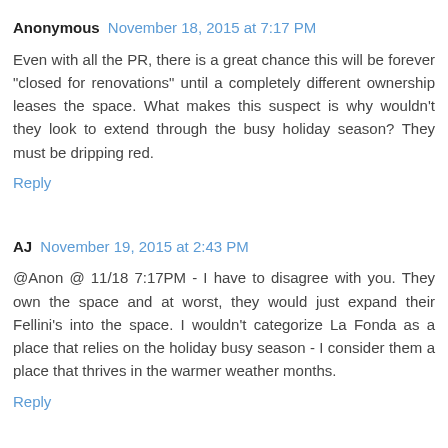Anonymous November 18, 2015 at 7:17 PM
Even with all the PR, there is a great chance this will be forever "closed for renovations" until a completely different ownership leases the space. What makes this suspect is why wouldn't they look to extend through the busy holiday season? They must be dripping red.
Reply
AJ November 19, 2015 at 2:43 PM
@Anon @ 11/18 7:17PM - I have to disagree with you. They own the space and at worst, they would just expand their Fellini's into the space. I wouldn't categorize La Fonda as a place that relies on the holiday busy season - I consider them a place that thrives in the warmer weather months.
Reply